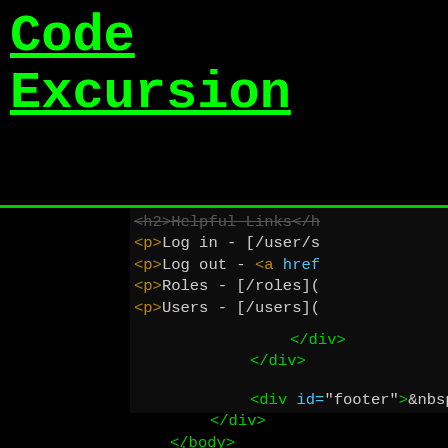Code Excursion
[Figure (screenshot): Dark terminal/code editor screenshot showing HTML code snippet with syntax highlighting on black background. Visible lines include partial h2 tag 'Helpful Links', paragraph tags with Log in, Log out (with href), Roles, Users links, followed by closing div tags and a footer div.]